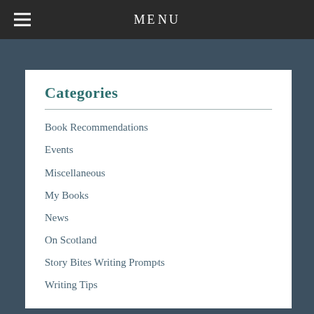MENU
Categories
Book Recommendations
Events
Miscellaneous
My Books
News
On Scotland
Story Bites Writing Prompts
Writing Tips